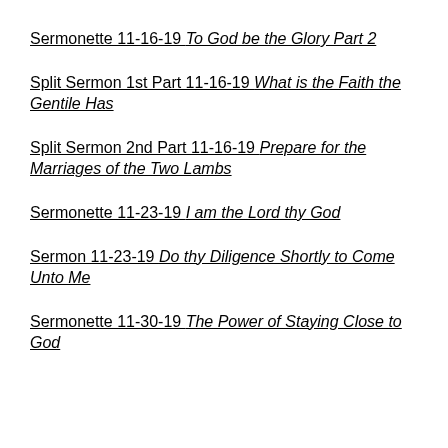Sermonette 11-16-19 To God be the Glory Part 2
Split Sermon 1st Part 11-16-19 What is the Faith the Gentile Has
Split Sermon 2nd Part 11-16-19 Prepare for the Marriages of the Two Lambs
Sermonette 11-23-19 I am the Lord thy God
Sermon 11-23-19 Do thy Diligence Shortly to Come Unto Me
Sermonette 11-30-19 The Power of Staying Close to God